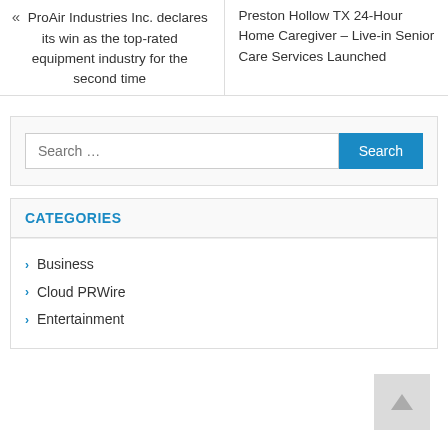« ProAir Industries Inc. declares its win as the top-rated equipment industry for the second time
Preston Hollow TX 24-Hour Home Caregiver – Live-in Senior Care Services Launched
Search …
CATEGORIES
Business
Cloud PRWire
Entertainment